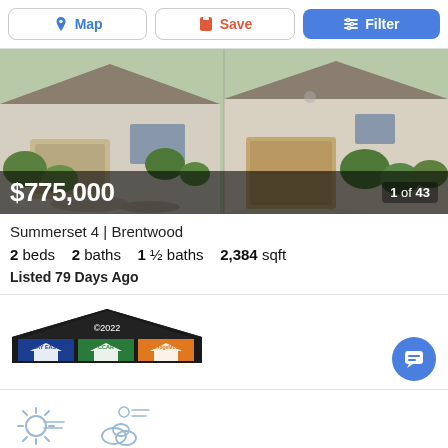[Figure (screenshot): Navigation bar with Map, Save, and Filter buttons]
[Figure (photo): Aerial/street view of suburban single-story homes with desert landscaping and driveways]
$775,000
1 of 43
Summerset 4 | Brentwood
2 beds   2 baths   1 ½ baths   2,384 sqft
Listed 79 Days Ago
[Figure (logo): Real estate association logos: ©2022, Bay East, CCAR, bridgeMLS with stylized house icons in blue, green, and orange]
[Figure (illustration): Weather widget strip showing sun and cloud icons in light blue outline style]